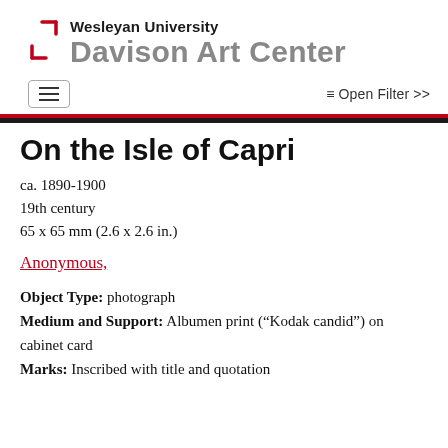[Figure (logo): Wesleyan University Davison Art Center logo with red bracket marks and text]
[Figure (screenshot): Navigation bar with hamburger menu button and 'Open Filter >>' link]
On the Isle of Capri
ca. 1890-1900
19th century
65 x 65 mm (2.6 x 2.6 in.)
Anonymous,
Object Type: photograph
Medium and Support: Albumen print (“Kodak candid”) on cabinet card
Marks: Inscribed with title and quotation